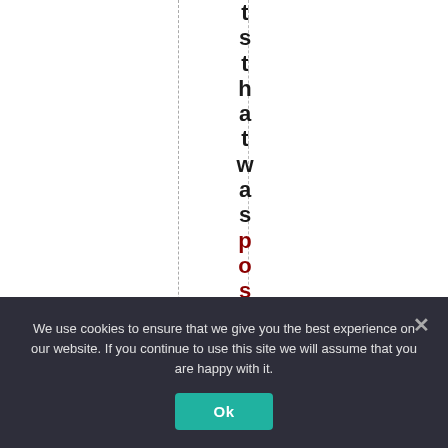t s t h a t w a s posted her
We use cookies to ensure that we give you the best experience on our website. If you continue to use this site we will assume that you are happy with it. Ok